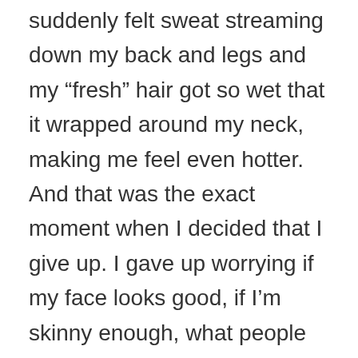suddenly felt sweat streaming down my back and legs and my “fresh” hair got so wet that it wrapped around my neck, making me feel even hotter. And that was the exact moment when I decided that I give up. I gave up worrying if my face looks good, if I’m skinny enough, what people think about me. I just gave up. I realized you can’t win this battle. There will be always something wrong with you, there will be always someone with better looking skin or a better